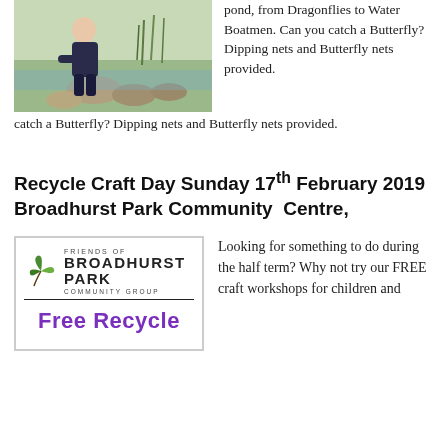[Figure (photo): A person crouching by a pond or stream among rocks and plants, engaged in pond dipping activity.]
pond, from Dragonflies to Water Boatmen. Can you catch a Butterfly? Dipping nets and Butterfly nets provided.
Recycle Craft Day Sunday 17th February 2019 Broadhurst Park Community  Centre,
[Figure (logo): Friends of Broadhurst Park Community Group logo with leaf graphic, and text 'Free Recycle' in purple cursive font below.]
Looking for something to do during the half term? Why not try our FREE craft workshops for children and